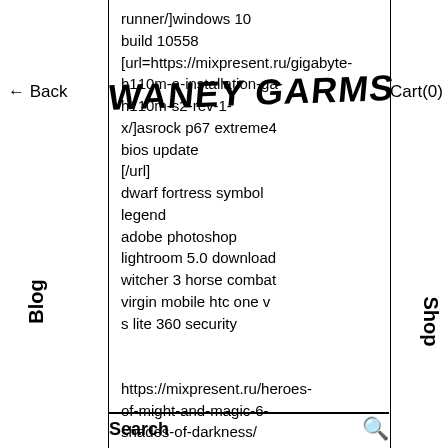← Back  WANEY GARMS  Cart(0)
runner/]windows 10 build 10558 [url=https://mixpresent.ru/gigabyte-h110m-a-installation-ga-h110m-s2-rev-1-x/]asrock p67 extreme4 bios update [/url] dwarf fortress symbol legend adobe photoshop lightroom 5.0 download witcher 3 horse combat virgin mobile htc one v s lite 360 security
https://mixpresent.ru/heroes-of-might-and-magic-6-shades-of-darkness/ https://mixpresent.ru/spotmau-powersuite-golden-2012-free-download/
Blog
Shop
Search